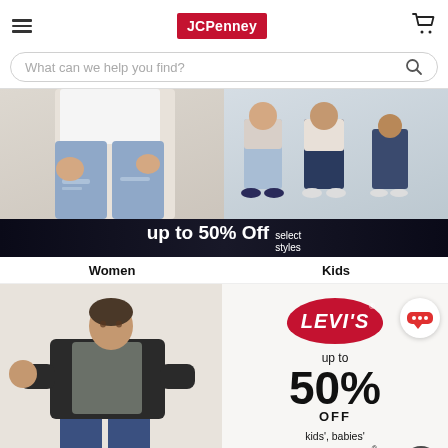JCPenney
What can we help you find?
[Figure (photo): Two product photos of people wearing jeans; left shows close-up of distressed jeans on a person, right shows two people standing wearing jeans and sneakers]
up to 50% Off select styles
Women
Kids
[Figure (photo): Man wearing dark vest over gray t-shirt and blue jeans, crouching/posing]
[Figure (logo): Levi's logo in red with registered trademark, with text: up to 50% OFF kids', babies' & toddlers' Levi's apparel]